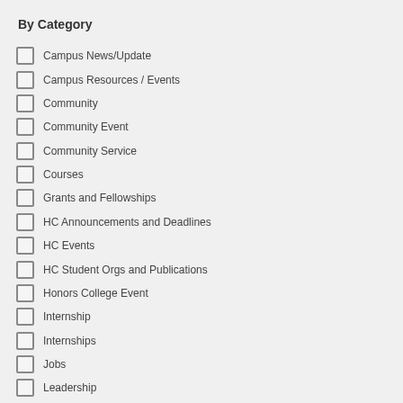By Category
Campus News/Update
Campus Resources / Events
Community
Community Event
Community Service
Courses
Grants and Fellowships
HC Announcements and Deadlines
HC Events
HC Student Orgs and Publications
Honors College Event
Internship
Internships
Jobs
Leadership
Miscellaneous
Paid Study
Professional and/or Career Development